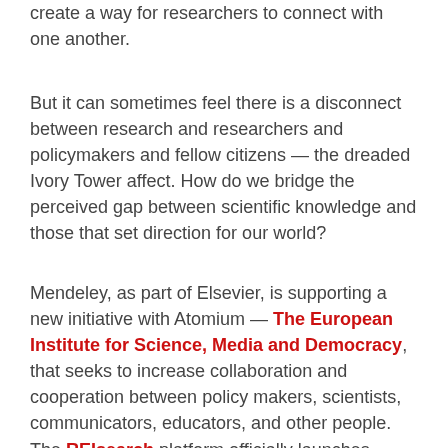create a way for researchers to connect with one another.
But it can sometimes feel there is a disconnect between research and researchers and policymakers and fellow citizens — the dreaded Ivory Tower affect. How do we bridge the perceived gap between scientific knowledge and those that set direction for our world?
Mendeley, as part of Elsevier, is supporting a new initiative with Atomium — The European Institute for Science, Media and Democracy, that seeks to increase collaboration and cooperation between policy makers, scientists, communicators, educators, and other people. The REIsearch platform officially launches today in the EU and is available in six languages: French, Italian, English, Polish,